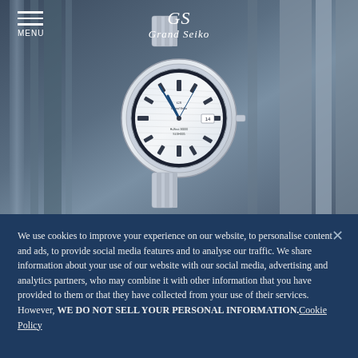[Figure (photo): Grand Seiko watch with white textured dial displayed against a blurred blue-grey background of birch trees or bamboo stalks. The watch has a stainless steel bracelet and case, blue hands, and a date window.]
MENU | GS Grand Seiko
We use cookies to improve your experience on our website, to personalise content and ads, to provide social media features and to analyse our traffic. We share information about your use of our website with our social media, advertising and analytics partners, who may combine it with other information that you have provided to them or that they have collected from your use of their services. However, WE DO NOT SELL YOUR PERSONAL INFORMATION.Cookie Policy